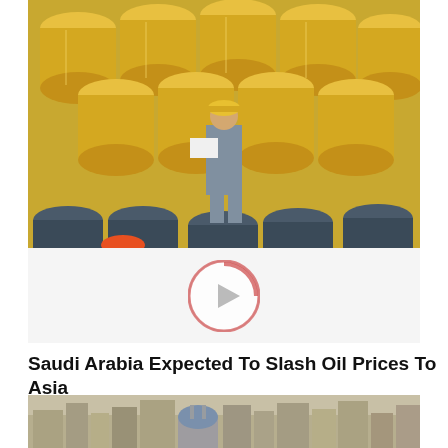[Figure (photo): Worker in yellow hard hat and gray coveralls standing among stacks of yellow oil barrels/drums, reviewing documents. Some blue/dark barrels visible in foreground.]
Saudi Arabia Expected To Slash Oil Prices To Asia
[Figure (photo): Aerial view of a Middle Eastern city skyline with buildings, a blue-domed mosque visible, and hazy sky.]